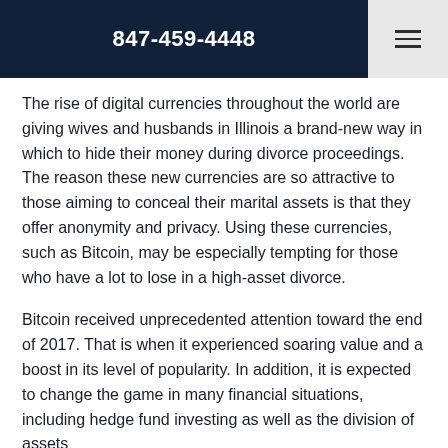847-459-4448
The rise of digital currencies throughout the world are giving wives and husbands in Illinois a brand-new way in which to hide their money during divorce proceedings. The reason these new currencies are so attractive to those aiming to conceal their marital assets is that they offer anonymity and privacy. Using these currencies, such as Bitcoin, may be especially tempting for those who have a lot to lose in a high-asset divorce.
Bitcoin received unprecedented attention toward the end of 2017. That is when it experienced soaring value and a boost in its level of popularity. In addition, it is expected to change the game in many financial situations, including hedge fund investing as well as the division of assets